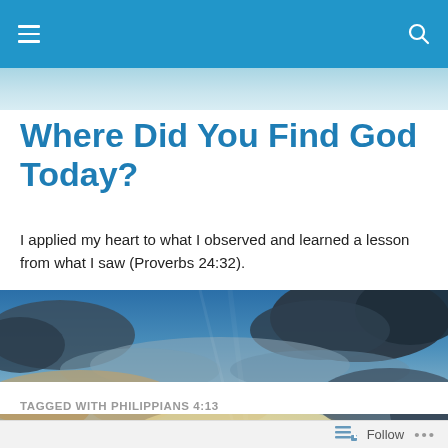Navigation bar with menu and search icons
Where Did You Find God Today?
I applied my heart to what I observed and learned a lesson from what I saw (Proverbs 24:32).
[Figure (photo): Dramatic sky with dark and light clouds, sunlight breaking through, blue tones, wide landscape format]
TAGGED WITH PHILIPPIANS 4:13
Follow   ...